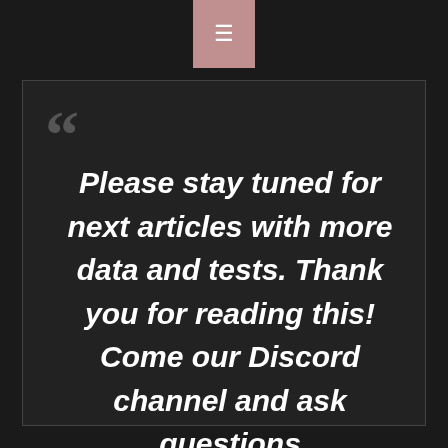≡
Please stay tuned for next articles with more data and tests. Thank you for reading this! Come our Discord channel and ask questions